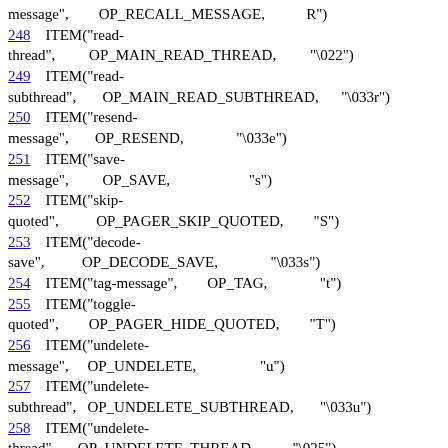message",        OP_RECALL_MESSAGE,           R")
248    ITEM("read-thread",         OP_MAIN_READ_THREAD,         "\022")
249    ITEM("read-subthread",       OP_MAIN_READ_SUBTHREAD,      "\033r")
250    ITEM("resend-message",       OP_RESEND,                   "\033e")
251    ITEM("save-message",         OP_SAVE,                     "s")
252    ITEM("skip-quoted",          OP_PAGER_SKIP_QUOTED,        "S")
253    ITEM("decode-save",          OP_DECODE_SAVE,              "\033s")
254    ITEM("tag-message",          OP_TAG,                      "t")
255    ITEM("toggle-quoted",        OP_PAGER_HIDE_QUOTED,        "T")
256    ITEM("undelete-message",     OP_UNDELETE,                 "u")
257    ITEM("undelete-subthread",   OP_UNDELETE_SUBTHREAD,       "\033u")
258    ITEM("undelete-thread",      OP_UNDELETE_THREAD,          "\025")
259    ITEM("view-attachments",     OP_VIEW_ATTACHMENTS,         "v")
260    ITEM("show-version",         OP_VERSION,                  "V")